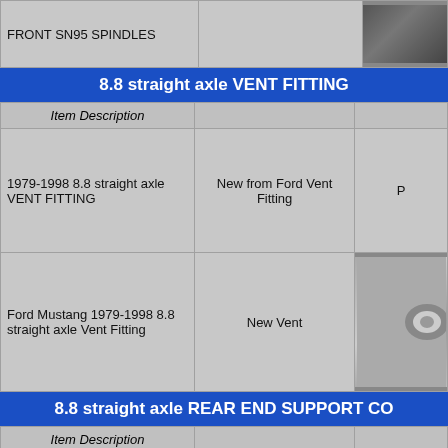| Item Description |  |  |
| --- | --- | --- |
| FRONT SN95 SPINDLES |  | [image] |
8.8 straight axle VENT FITTING
| Item Description |  |  |
| --- | --- | --- |
| 1979-1998 8.8 straight axle VENT FITTING | New from Ford Vent Fitting | P |
| Ford Mustang 1979-1998 8.8 straight axle Vent Fitting | New Vent | [image] |
8.8 straight axle REAR END SUPPORT CO
| Item Description |  |  |
| --- | --- | --- |
| If you are going to do any Hi perfromance racing then you will need a support cover | Ford Motor Sport Product | Pr |